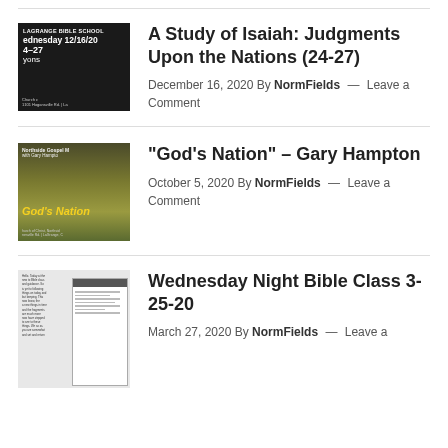[Figure (photo): Thumbnail for Bible school video, dark background with text: LAGRANGE BIBLE SCHOOL, Wednesday 12/16/20, 24-27, Lyons, Church address bottom]
A Study of Isaiah: Judgments Upon the Nations (24-27)
December 16, 2020 By NormFields — Leave a Comment
[Figure (photo): Thumbnail for Northside Gospel Meeting with Gary Hampton, God's Nation text on yellowish-green background]
“God’s Nation” – Gary Hampton
October 5, 2020 By NormFields — Leave a Comment
[Figure (photo): Thumbnail for Wednesday Night Bible Class, showing a document/notes on the left and a slide presentation on the right]
Wednesday Night Bible Class 3-25-20
March 27, 2020 By NormFields — Leave a